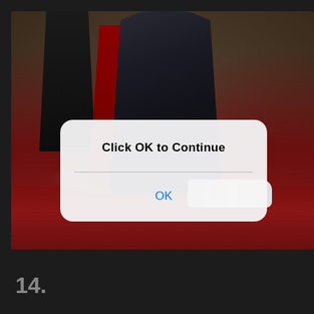[Figure (photo): Photo of person in black satin gown on red carpet event, with a superimposed iOS-style dialog box reading 'Click OK to Continue' with an OK button]
14.